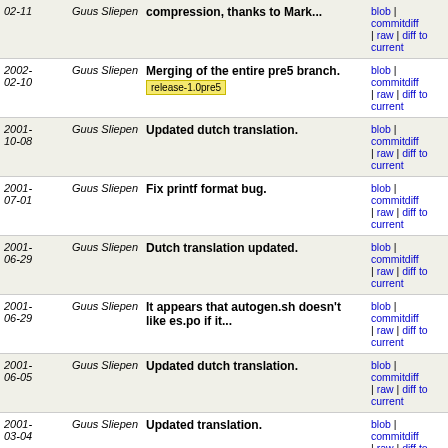| Date | Author | Message | Links |
| --- | --- | --- | --- |
| 02-11 | Guus Sliepen | compression, thanks to Mark... | blob | commitdiff | raw | diff to current |
| 2002-02-10 | Guus Sliepen | Merging of the entire pre5 branch.
release-1.0pre5 | blob | commitdiff | raw | diff to current |
| 2001-10-08 | Guus Sliepen | Updated dutch translation. | blob | commitdiff | raw | diff to current |
| 2001-07-01 | Guus Sliepen | Fix printf format bug. | blob | commitdiff | raw | diff to current |
| 2001-06-29 | Guus Sliepen | Dutch translation updated. | blob | commitdiff | raw | diff to current |
| 2001-06-29 | Guus Sliepen | It appears that autogen.sh doesn't like es.po if it... | blob | commitdiff | raw | diff to current |
| 2001-06-05 | Guus Sliepen | Updated dutch translation. | blob | commitdiff | raw | diff to current |
| 2001-03-04 | Guus Sliepen | Updated translation. | blob | commitdiff | raw | diff to current |
| 2001-02-25 | Guus Sliepen | Added process.c to the translated files. | blob | commitdiff | raw | diff to current |
| 2001-02-25 | Guus Sliepen | Add missing \n. | blob | commitdiff | raw | diff to current |
| 2001-02-06 | Guus Sliepen | Updated dutch translation. | blob | commitdiff | raw | diff to current |